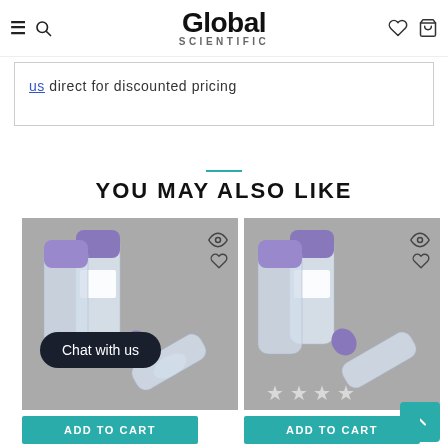Global Scientific
us direct for discounted pricing
YOU MAY ALSO LIKE
[Figure (photo): Two cryo vials with purple caps on a grey background, product card left]
[Figure (photo): Two cryo vials with purple caps on a grey background, product card middle]
ADD TO CART
ADD TO CART